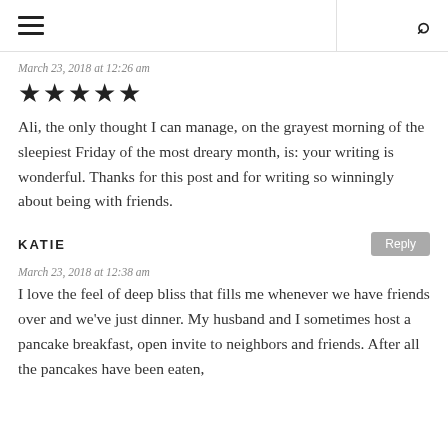≡  🔍
March 23, 2018 at 12:26 am
★★★★★
Ali, the only thought I can manage, on the grayest morning of the sleepiest Friday of the most dreary month, is: your writing is wonderful. Thanks for this post and for writing so winningly about being with friends.
KATIE
March 23, 2018 at 12:38 am
I love the feel of deep bliss that fills me whenever we have friends over and we've just dinner. My husband and I sometimes host a pancake breakfast, open invite to neighbors and friends. After all the pancakes have been eaten,